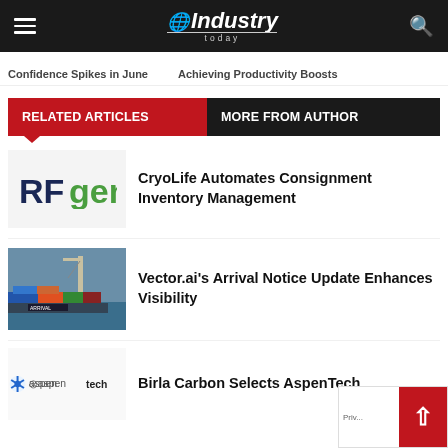Industry Today
Confidence Spikes in June    Achieving Productivity Boosts
RELATED ARTICLES   MORE FROM AUTHOR
[Figure (logo): RFgen logo - bold dark blue RF and green gen text]
CryoLife Automates Consignment Inventory Management
[Figure (photo): Port with shipping containers and crane/ship]
Vector.ai's Arrival Notice Update Enhances Visibility
[Figure (logo): aspentech logo with blue flower icon]
Birla Carbon Selects AspenTech